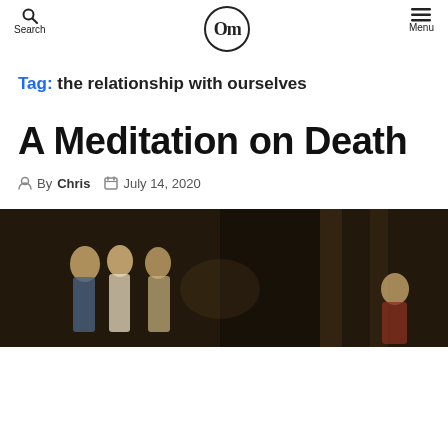Search  [logo: Om]  Menu
Tag: the relationship with ourselves
A Meditation on Death
By Chris  July 14, 2020
[Figure (photo): Classical painting of several robed figures in a darkened architectural interior, reminiscent of ancient Greek or Roman setting.]